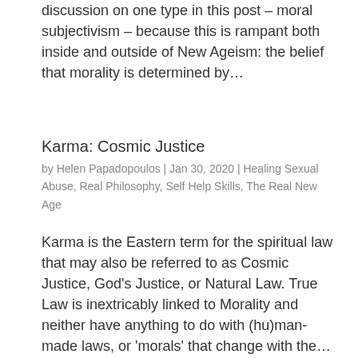discussion on one type in this post – moral subjectivism – because this is rampant both inside and outside of New Ageism: the belief that morality is determined by…
Karma: Cosmic Justice
by Helen Papadopoulos | Jan 30, 2020 | Healing Sexual Abuse, Real Philosophy, Self Help Skills, The Real New Age
Karma is the Eastern term for the spiritual law that may also be referred to as Cosmic Justice, God's Justice, or Natural Law. True Law is inextricably linked to Morality and neither have anything to do with (hu)man-made laws, or 'morals' that change with the…